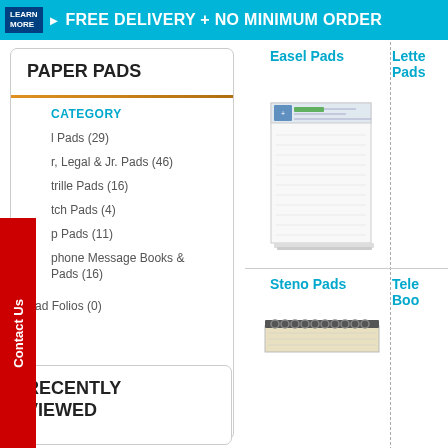LEARN MORE ▶ FREE DELIVERY + NO MINIMUM ORDER
PAPER PADS
CATEGORY
l Pads (29)
r, Legal & Jr. Pads (46)
trille Pads (16)
tch Pads (4)
p Pads (11)
phone Message Books & Pads (16)
Pad Folios (0)
Easel Pads
[Figure (photo): Easel pad product image showing a large white paper pad]
Lette Pads
Steno Pads
Tele Boo
[Figure (photo): Steno pad product image showing a spiral-bound notepad]
RECENTLY VIEWED